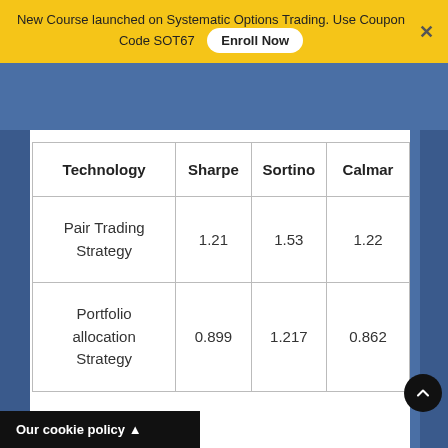New Course launched on Systematic Options Trading. Use Coupon Code SOT67  Enroll Now
| Technology | Sharpe | Sortino | Calmar |
| --- | --- | --- | --- |
| Pair Trading Strategy | 1.21 | 1.53 | 1.22 |
| Portfolio allocation Strategy | 0.899 | 1.217 | 0.862 |
Our cookie policy ▲
mputed for the Automotive